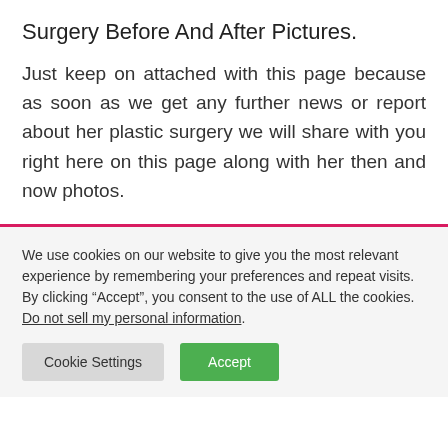Surgery Before And After Pictures.
Just keep on attached with this page because as soon as we get any further news or report about her plastic surgery we will share with you right here on this page along with her then and now photos.
We use cookies on our website to give you the most relevant experience by remembering your preferences and repeat visits. By clicking “Accept”, you consent to the use of ALL the cookies. Do not sell my personal information.